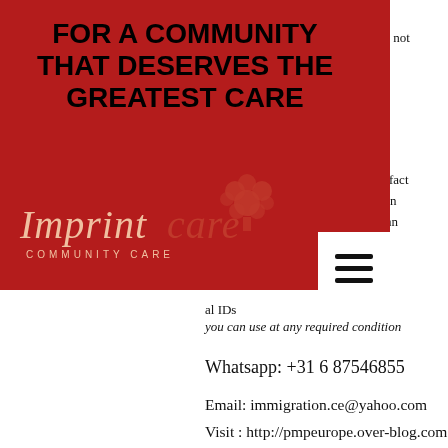FOR A COMMUNITY THAT DESERVES THE GREATEST CARE
[Figure (logo): Imprint Care Community Care logo with tree icon, white/pink script text on red background]
al IDs you can use at any required condition
Whatsapp: +31 6 87546855
Email: immigration.ce@yahoo.com
Visit : http://pmpeurope.over-blog.com
Since we need genuine reports to venture out to purchase, register in banks and take advances, we need to ensure each strategy is regarded regardless. Legit-